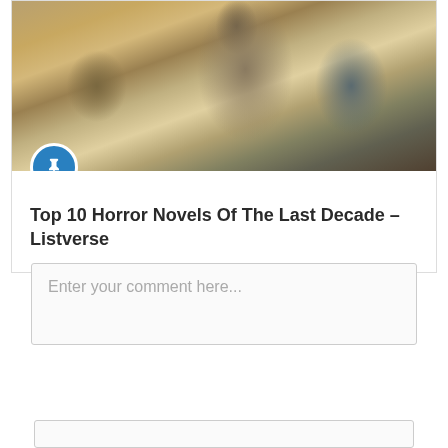[Figure (photo): Dark atmospheric photo of a figure in muted earth tones, appearing to be from a horror-themed context]
Top 10 Horror Novels Of The Last Decade – Listverse
Enter your comment here...